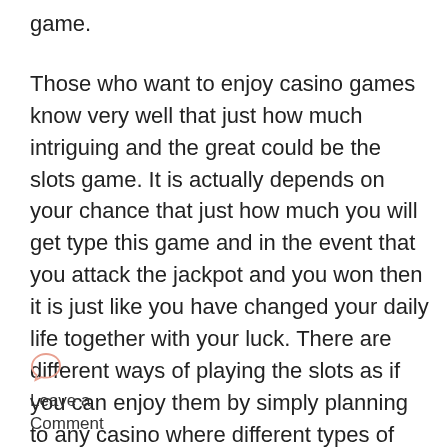game.
Those who want to enjoy casino games know very well that just how much intriguing and the great could be the slots game. It is actually depends on your chance that just how much you will get type this game and in the event that you attack the jackpot and you won then it is just like you have changed your daily life together with your luck. There are different ways of playing the slots as if you can enjoy them by simply planning to any casino where different types of the slot devices are
Leave a Comment